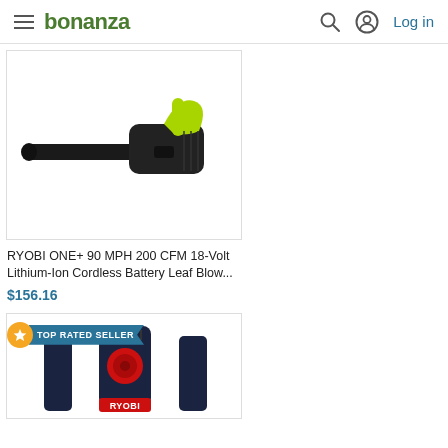bonanza — Log in
[Figure (photo): RYOBI ONE+ cordless leaf blower, black body with lime green handle, shown from side profile on white background]
RYOBI ONE+ 90 MPH 200 CFM 18-Volt Lithium-Ion Cordless Battery Leaf Blow...
$156.16
[Figure (photo): RYOBI branded tool (appears to be a drill or rotary hammer), dark navy/black body with red accents, RYOBI logo visible at bottom, shown close-up. TOP RATED SELLER badge overlaid at top.]